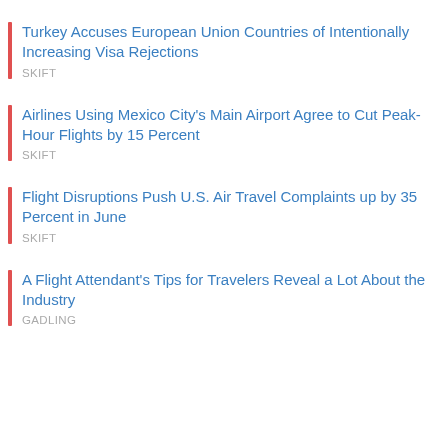Turkey Accuses European Union Countries of Intentionally Increasing Visa Rejections
SKIFT
Airlines Using Mexico City's Main Airport Agree to Cut Peak-Hour Flights by 15 Percent
SKIFT
Flight Disruptions Push U.S. Air Travel Complaints up by 35 Percent in June
SKIFT
A Flight Attendant's Tips for Travelers Reveal a Lot About the Industry
GADLING